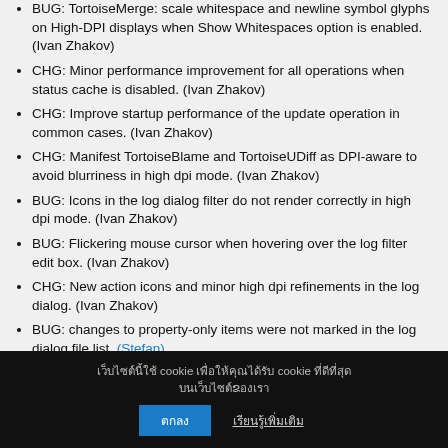BUG: TortoiseMerge: scale whitespace and newline symbol glyphs on High-DPI displays when Show Whitespaces option is enabled. (Ivan Zhakov)
CHG: Minor performance improvement for all operations when status cache is disabled. (Ivan Zhakov)
CHG: Improve startup performance of the update operation in common cases. (Ivan Zhakov)
CHG: Manifest TortoiseBlame and TortoiseUDiff as DPI-aware to avoid blurriness in high dpi mode. (Ivan Zhakov)
BUG: Icons in the log dialog filter do not render correctly in high dpi mode. (Ivan Zhakov)
BUG: Flickering mouse cursor when hovering over the log filter edit box. (Ivan Zhakov)
CHG: New action icons and minor high dpi refinements in the log dialog. (Ivan Zhakov)
BUG: changes to property-only items were not marked in the log dialog file list. (Stefan)
BUG: SubWCRevCOM choked on empty paths. (Stefan)
cookie cookie